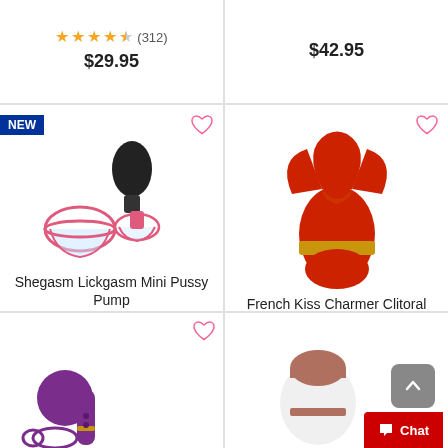[Figure (screenshot): E-commerce product grid showing adult products with prices, star ratings, and wishlist icons]
★★★★☆ (312)
$29.95
$42.95
NEW
Shegasm Lickgasm Mini Pussy Pump
$119.95
French Kiss Charmer Clitoral Stimulator
★★★★½ (11)
$59.95